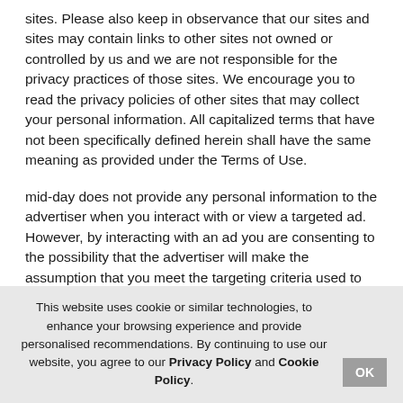sites. Please also keep in observance that our sites and sites may contain links to other sites not owned or controlled by us and we are not responsible for the privacy practices of those sites. We encourage you to read the privacy policies of other sites that may collect your personal information. All capitalized terms that have not been specifically defined herein shall have the same meaning as provided under the Terms of Use.
mid-day does not provide any personal information to the advertiser when you interact with or view a targeted ad. However, by interacting with an ad you are consenting to the possibility that the advertiser will make the assumption that you meet the targeting criteria used to display the ad.
IV. Children
This website uses cookie or similar technologies, to enhance your browsing experience and provide personalised recommendations. By continuing to use our website, you agree to our Privacy Policy and Cookie Policy.